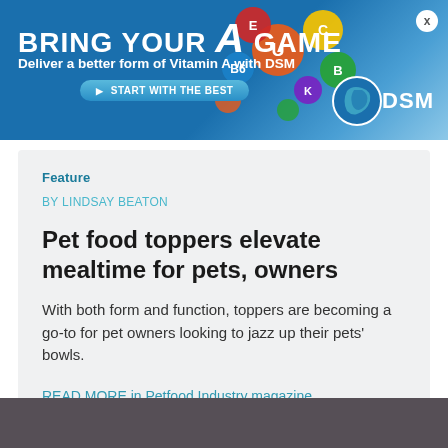[Figure (illustration): Advertisement banner for DSM Vitamin A product. Blue gradient background with colorful vitamin sphere graphics, a golden retriever dog with a man, colorful vitamin letter balls. Text reads: BRING YOUR A GAME — Deliver a better form of Vitamin A with DSM — START WITH THE BEST button. DSM logo bottom right. Close X button top right.]
Feature
BY LINDSAY BEATON
Pet food toppers elevate mealtime for pets, owners
With both form and function, toppers are becoming a go-to for pet owners looking to jazz up their pets' bowls.
READ MORE in Petfood Industry magazine